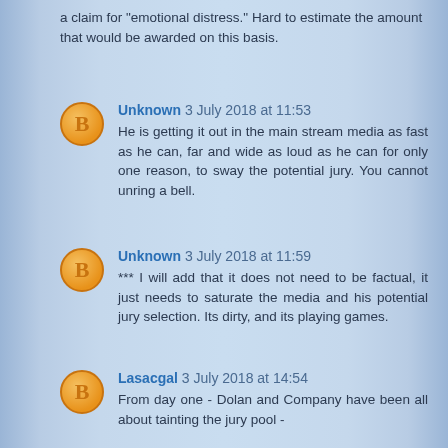a claim for "emotional distress." Hard to estimate the amount that would be awarded on this basis.
Unknown 3 July 2018 at 11:53
He is getting it out in the main stream media as fast as he can, far and wide as loud as he can for only one reason, to sway the potential jury. You cannot unring a bell.
Unknown 3 July 2018 at 11:59
*** I will add that it does not need to be factual, it just needs to saturate the media and his potential jury selection. Its dirty, and its playing games.
Lasacgal 3 July 2018 at 14:54
From day one - Dolan and Company have been all about tainting the jury pool -